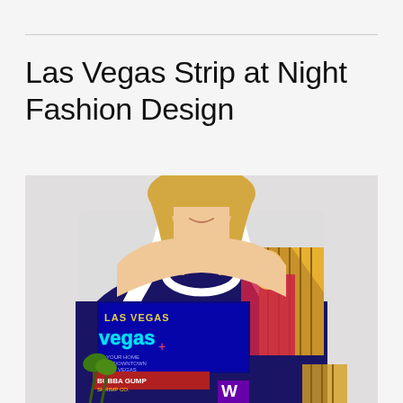Las Vegas Strip at Night Fashion Design
[Figure (photo): A woman wearing a sleeveless racerback tank dress featuring a colorful Las Vegas Strip at night print. The dress shows neon signs, including 'LAS VEGAS' and 'Vegas', the Luxor pyramid, Eiffel Tower replica, Bubba Gump Shrimp Co. sign, and other Vegas landmarks in vibrant blues, purples, golds, and reds. The model is shown from chin to waist against a light grey background.]